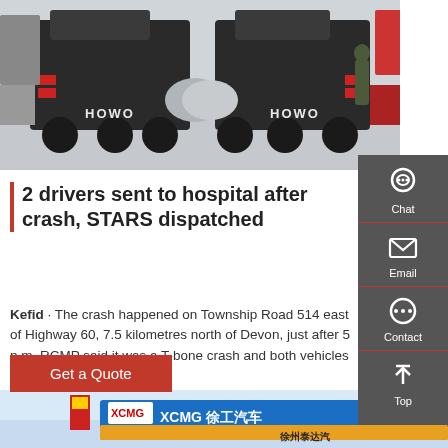[Figure (photo): Rear view of two HOWO heavy trucks in a yard with multiple trucks and a person visible in background]
2 drivers sent to hospital after crash, STARS dispatched
Kefid · The crash happened on Township Road 514 east of Highway 60, 7.5 kilometres north of Devon, just after 5 p.m. RCMP said it was a T-bone crash and both vehicles ended up in ...
[Figure (screenshot): Sidebar with Chat, Email, Contact, and Top navigation icons on dark grey background]
[Figure (photo): Partial view of XCMG branded signage at an exhibition or dealership]